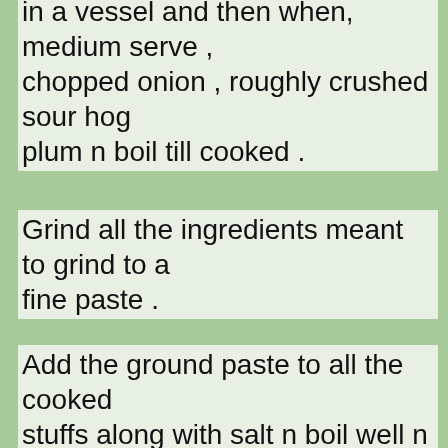in a vessel and then when, medium serve , chopped onion , roughly crushed sour hog plum n boil till cooked .
Grind all the ingredients meant to grind to a fine paste .
Add the ground paste to all the cooked stuffs along with salt  n boil well n then do the seasoning .
Ambe upkari  ..
Ambe gointa ( a small variety of mango which is prefered for this.as